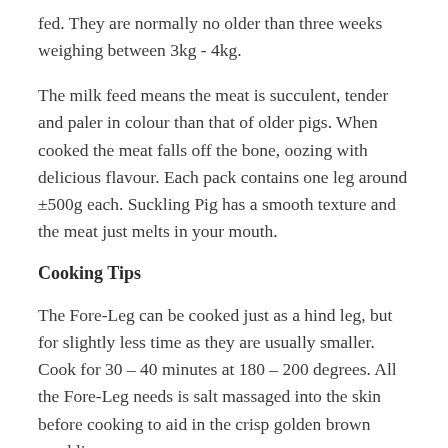fed. They are normally no older than three weeks weighing between 3kg - 4kg.
The milk feed means the meat is succulent, tender and paler in colour than that of older pigs. When cooked the meat falls off the bone, oozing with delicious flavour. Each pack contains one leg around ±500g each. Suckling Pig has a smooth texture and the meat just melts in your mouth.
Cooking Tips
The Fore-Leg can be cooked just as a hind leg, but for slightly less time as they are usually smaller. Cook for 30 – 40 minutes at 180 – 200 degrees. All the Fore-Leg needs is salt massaged into the skin before cooking to aid in the crisp golden brown crackling.